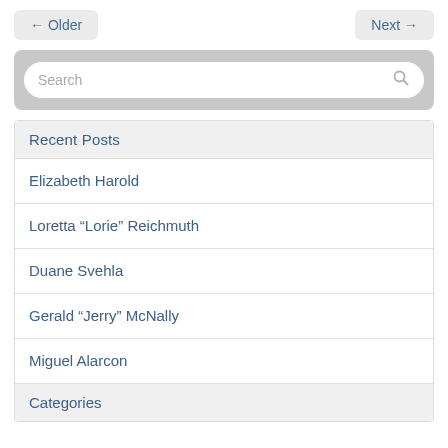← Older   Next →
[Figure (other): Search bar widget with placeholder text 'Search' and a magnifying glass icon, inside a grey rounded container]
Recent Posts
Elizabeth Harold
Loretta “Lorie” Reichmuth
Duane Svehla
Gerald “Jerry” McNally
Miguel Alarcon
Categories